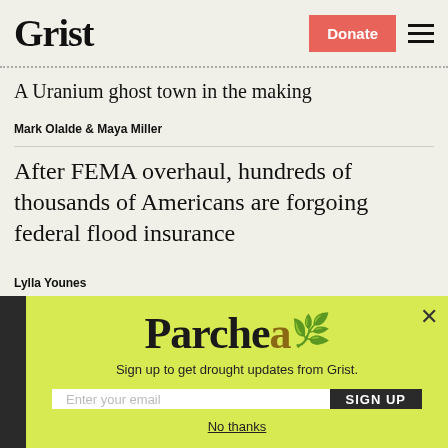Grist
A Uranium ghost town in the making
Mark Olalde & Maya Miller
After FEMA overhaul, hundreds of thousands of Americans are forgoing federal flood insurance
Lylla Younes
[Figure (other): Parched newsletter modal popup with logo, email signup field, SIGN UP button, and No thanks link on yellow-green background]
Sign up to get drought updates from Grist.
No thanks